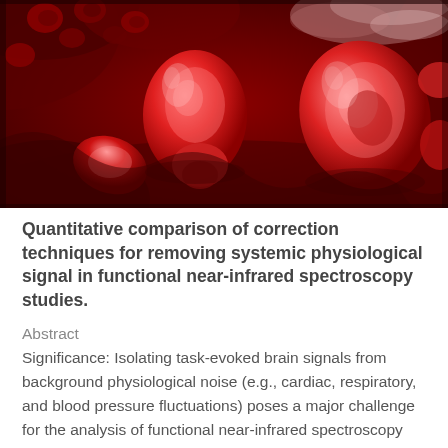[Figure (photo): Close-up 3D illustration of red blood cells (erythrocytes) flowing inside a blood vessel, with dark red tissue walls visible in the background.]
Quantitative comparison of correction techniques for removing systemic physiological signal in functional near-infrared spectroscopy studies.
Abstract
Significance: Isolating task-evoked brain signals from background physiological noise (e.g., cardiac, respiratory, and blood pressure fluctuations) poses a major challenge for the analysis of functional near-infrared spectroscopy (fNIRS) data. Aim: The